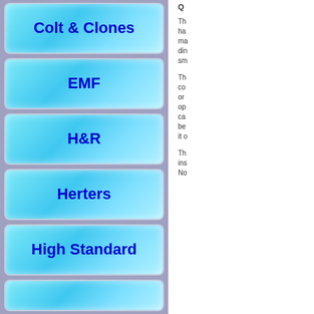[Figure (infographic): Navigation menu panel with gradient blue buttons listing gun/firearm brand names: Colt & Clones, EMF, H&R, Herters, High Standard, and a partially visible last entry]
Q
Th ha ma din sm
Th co or op ca be it o
Th ins No